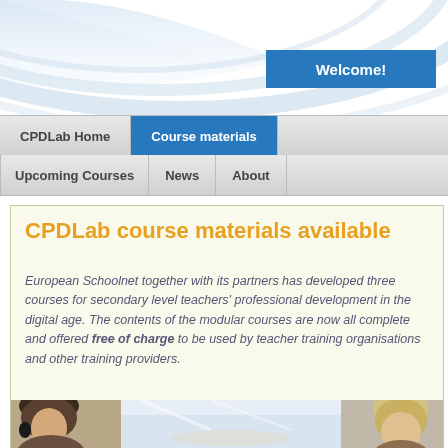Welcome!
CPDLab Home | Course materials | Upcoming Courses | News | About
CPDLab course materials available
European Schoolnet together with its partners has developed three courses for secondary level teachers' professional development in the digital age. The contents of the modular courses are now all complete and offered free of charge to be used by teacher training organisations and other training providers.
[Figure (photo): Photo strip showing students/teachers, partial view of two people]